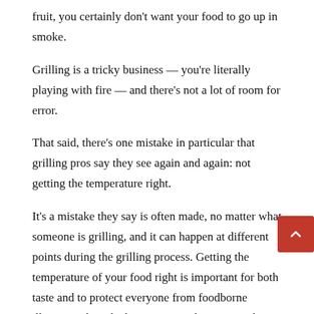fruit, you certainly don’t want your food to go up in smoke.
Grilling is a tricky business — you’re literally playing with fire — and there’s not a lot of room for error.
That said, there’s one mistake in particular that grilling pros say they see again and again: not getting the temperature right.
It’s a mistake they say is often made, no matter what someone is grilling, and it can happen at different points during the grilling process. Getting the temperature of your food right is important for both taste and to protect everyone from foodborne illness. Feeling the heat? Here’s what you need to know about grilling and temperature.
Put your meat on the grill at the right time